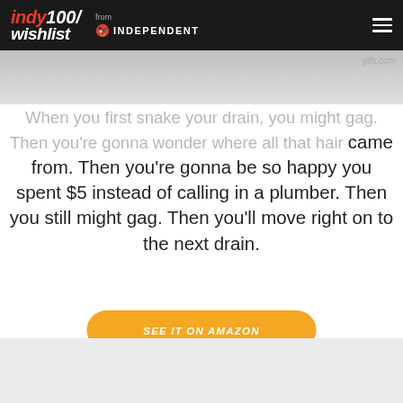indy100/wishlist from INDEPENDENT
[Figure (photo): Gray gradient image bar with gifs.com watermark in bottom right]
When you first snake your drain, you might gag. Then you're gonna wonder where all that hair came from. Then you're gonna be so happy you spent $5 instead of calling in a plumber. Then you still might gag. Then you'll move right on to the next drain.
SEE IT ON AMAZON
[Figure (photo): Light gray placeholder image block at bottom of page]